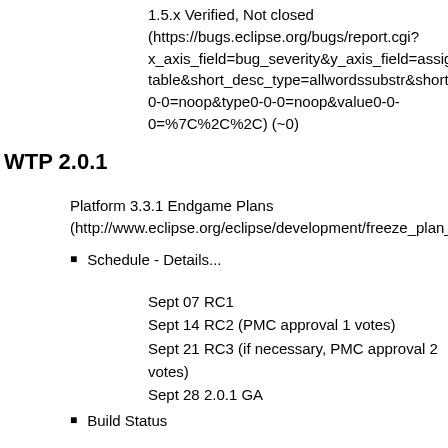1.5.x Verified, Not closed (https://bugs.eclipse.org/bugs/report.cgi?x_axis_field=bug_severity&y_axis_field=assigned_to&z_table&short_desc_type=allwordssubstr&short_desc=&cla_0-0=noop&type0-0-0=noop&value0-0-0=%7C%2C%2C) (~0)
WTP 2.0.1
Platform 3.3.1 Endgame Plans (http://www.eclipse.org/eclipse/development/freeze_plan_3_3_
Schedule - Details...
Sept 07 RC1
Sept 14 RC2 (PMC approval 1 votes)
Sept 21 RC3 (if necessary, PMC approval 2 votes)
Sept 28 2.0.1 GA
Build Status